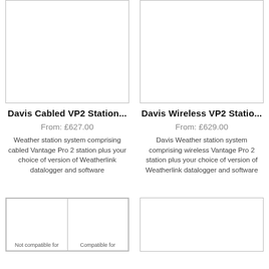[Figure (photo): Product image placeholder for Davis Cabled VP2 Station (top-left card)]
Davis Cabled VP2 Station...
From: £627.00
Weather station system comprising cabled Vantage Pro 2 station plus your choice of version of Weatherlink datalogger and software
[Figure (photo): Product image placeholder for Davis Wireless VP2 Station (top-right card)]
Davis Wireless VP2 Statio...
From: £629.00
Davis Weather station system comprising wireless Vantage Pro 2 station plus your choice of version of Weatherlink datalogger and software
[Figure (photo): Product image showing compatibility chart with 'Not compatible for' and 'Compatible for' sections (bottom-left card)]
[Figure (photo): Product image placeholder (bottom-right card)]